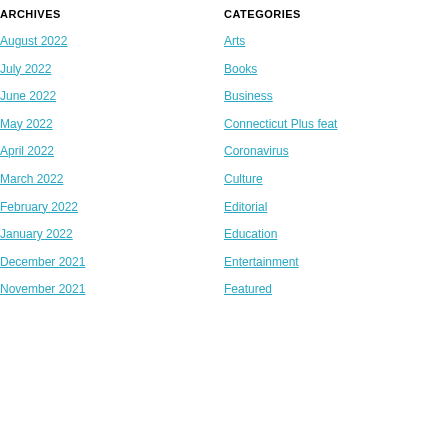ARCHIVES
August 2022
July 2022
June 2022
May 2022
April 2022
March 2022
February 2022
January 2022
December 2021
November 2021
CATEGORIES
Arts
Books
Business
Connecticut Plus feat
Coronavirus
Culture
Editorial
Education
Entertainment
Featured